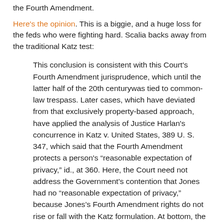the Fourth Amendment.
Here's the opinion. This is a biggie, and a huge loss for the feds who were fighting hard. Scalia backs away from the traditional Katz test:
This conclusion is consistent with this Court's Fourth Amendment jurisprudence, which until the latter half of the 20th centurywas tied to common-law trespass. Later cases, which have deviated from that exclusively property-based approach, have applied the analysis of Justice Harlan's concurrence in Katz v. United States, 389 U. S. 347, which said that the Fourth Amendment protects a person's “reasonable expectation of privacy,” id., at 360. Here, the Court need not address the Government’s contention that Jones had no “reasonable expectation of privacy,” because Jones’s Fourth Amendment rights do not rise or fall with the Katz formulation. At bottom, the Court must “assur[e] preservation of that degree of privacy against government that existed when the Fourth Amendment was